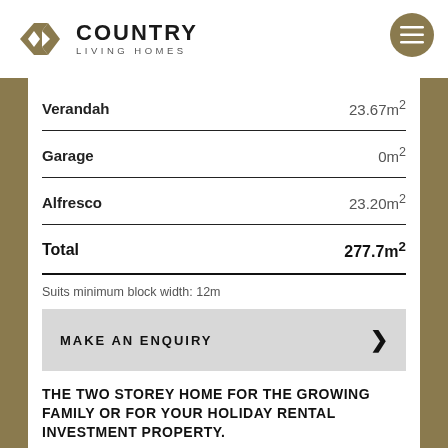[Figure (logo): Country Living Homes logo with chevron/house icon in gold and menu hamburger button]
|  |  |
| --- | --- |
| Verandah | 23.67m² |
| Garage | 0m² |
| Alfresco | 23.20m² |
| Total | 277.7m² |
Suits minimum block width: 12m
MAKE AN ENQUIRY
THE TWO STOREY HOME FOR THE GROWING FAMILY OR FOR YOUR HOLIDAY RENTAL INVESTMENT PROPERTY.